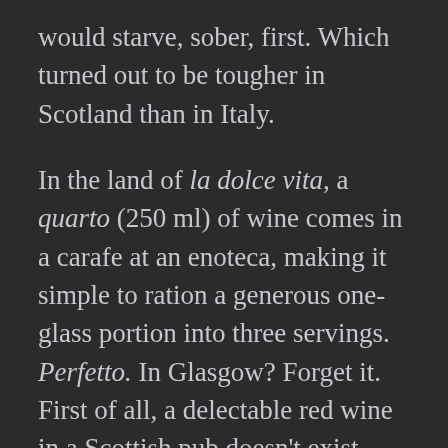would starve, sober, first. Which turned out to be tougher in Scotland than in Italy.
In the land of la dolce vita, a quarto (250 ml) of wine comes in a carafe at an enoteca, making it simple to ration a generous one-glass portion into three servings. Perfetto. In Glasgow? Forget it. First of all, a delectable red wine in a Scottish pub doesn't exist. And asking for one makes you look like a nutter. It's not a fine-wine-sipping kind of country. A person needs something sturdy to shoo away the gray, the cold, and the wet. Every which way I looked I saw ads inviting the public to